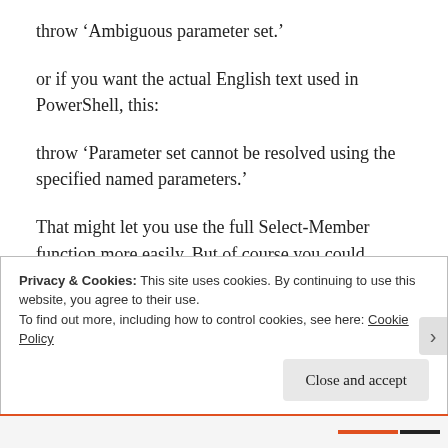throw ‘Ambiguous parameter set.’
or if you want the actual English text used in PowerShell, this:
throw ‘Parameter set cannot be resolved using the specified named parameters.’
That might let you use the full Select-Member function more easily. But of course you could
Privacy & Cookies: This site uses cookies. By continuing to use this website, you agree to their use.
To find out more, including how to control cookies, see here: Cookie Policy